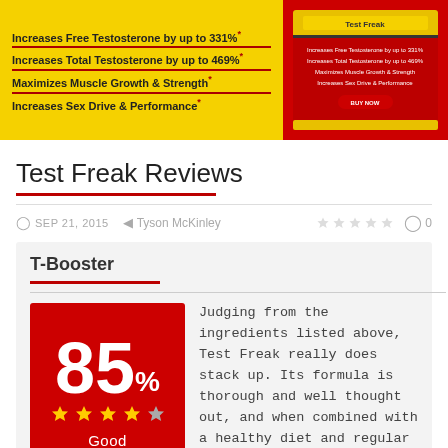[Figure (illustration): Yellow banner advertisement for a testosterone supplement product. Left side shows bold text listing product benefits: Increases Free Testosterone by up to 331%, Increases Total Testosterone by up to 469%, Maximizes Muscle Growth & Strength, Increases Sex Drive & Performance. Right side shows a product box image on a red background.]
Test Freak Reviews
SEP 21, 2015  Tyson McKinley  ★★★★★  0
T-Booster
85% Good
Judging from the ingredients listed above, Test Freak really does stack up. Its formula is thorough and well thought out, and when combined with a healthy diet and regular exercise, this formula should